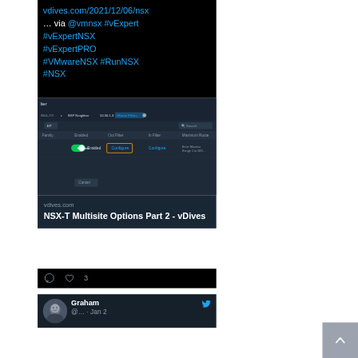vdives.com/2021/12/06/nsx… via @vmnsx #vExpert #vExpertNSX #vExpertPRO #VMwareNSX #RunNSX #NSX
[Figure (screenshot): Screenshot of NSX-T BGP Neighbor Route Filter configuration UI showing a table with columns: Family, Enabled, Out Filter, In Filter, Maximum Route. One row is visible with Enabled toggle on and Configure button highlighted in orange for Out Filter.]
vdives.com
NSX-T Multisite Options Part 2 - vDives
♡  ♡ 3
Graham @… · Jan 2